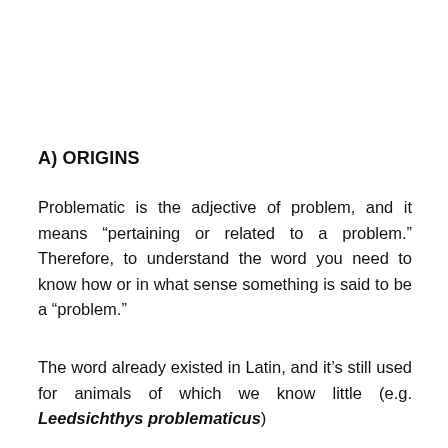A) ORIGINS
Problematic is the adjective of problem, and it means “pertaining or related to a problem.” Therefore, to understand the word you need to know how or in what sense something is said to be a “problem.”
The word already existed in Latin, and it’s still used for animals of which we know little (e.g. Leedsichthys problematicus)